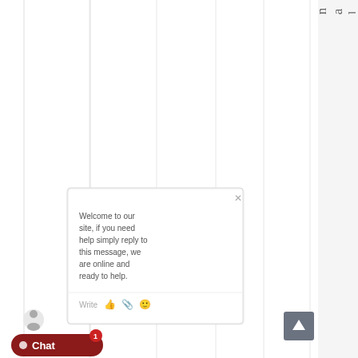[Figure (screenshot): A webpage screenshot showing vertical column grid lines on a white background with a chat popup overlay. The chat popup contains a welcome message, a text input area with icons, an avatar icon, and a red chat button with a notification badge. On the right edge, vertical text reads 'l o r e c t a l a n a s t o m o i'. A dark grey scroll-to-top arrow button appears in the bottom right.]